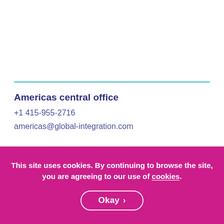Americas central office
+1 415-955-2716
americas@global-integration.com
Europe & Rest of World central offices
+44 (0)118 932 8912
europe@global-integration.com
This site uses cookies. By continuing to browse the site, you are agreeing to our use of cookies.
Okay >